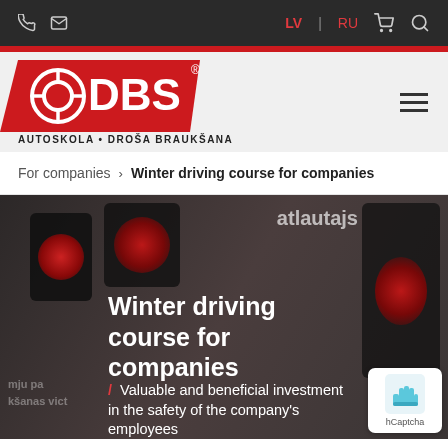LV | RU navigation bar with phone, mail, cart, search icons
[Figure (logo): DBS Autoskola Droša Braukšana logo — red trapezoid shape with steering wheel icon and DBS text in white, tagline AUTOSKOLA • DROŠA BRAUKŠANA below]
For companies > Winter driving course for companies
Winter driving course for companies
/ Valuable and beneficial investment in the safety of the company's employees